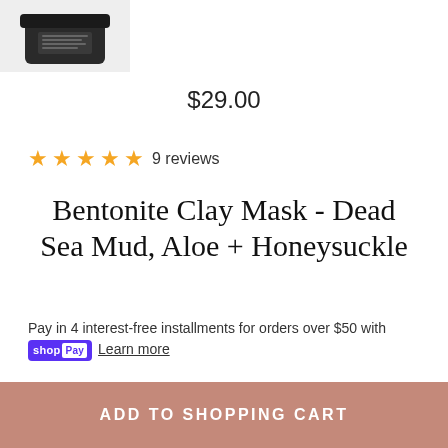[Figure (photo): Product photo of a dark jar (Bentonite Clay Mask) partially visible at top-left corner]
$29.00
★★★★★ 9 reviews
Bentonite Clay Mask - Dead Sea Mud, Aloe + Honeysuckle
Pay in 4 interest-free installments for orders over $50 with shop Pay Learn more
ADD TO SHOPPING CART
ADD TO SHOPPING CART